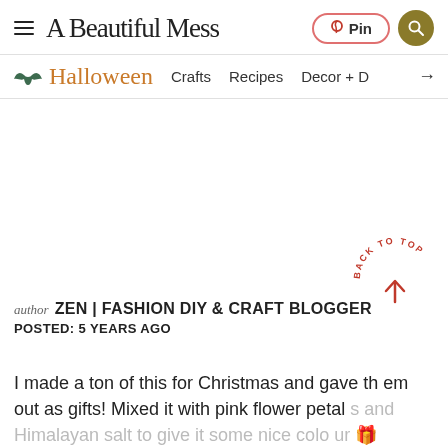A Beautiful Mess — Pin | Search
Halloween | Crafts | Recipes | Decor + →
author ZEN | FASHION DIY & CRAFT BLOGGER
POSTED: 5 YEARS AGO
I made a ton of this for Christmas and gave them out as gifts! Mixed it with pink flower petals and Himalayan salt to give it some nice colour 🎁